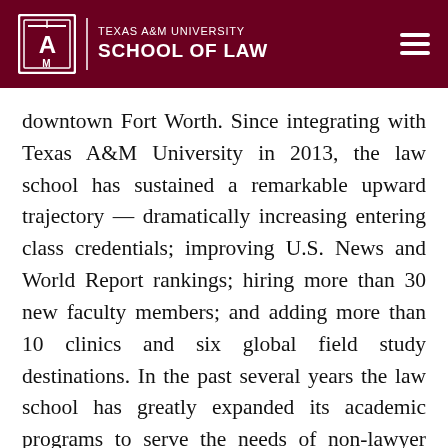TEXAS A&M UNIVERSITY SCHOOL OF LAW
downtown Fort Worth. Since integrating with Texas A&M University in 2013, the law school has sustained a remarkable upward trajectory — dramatically increasing entering class credentials; improving U.S. News and World Report rankings; hiring more than 30 new faculty members; and adding more than 10 clinics and six global field study destinations. In the past several years the law school has greatly expanded its academic programs to serve the needs of non-lawyer professionals in a variety of complex and highly regulated industries such as cybersecurity, energy and natural resources, finance, and healthcare.